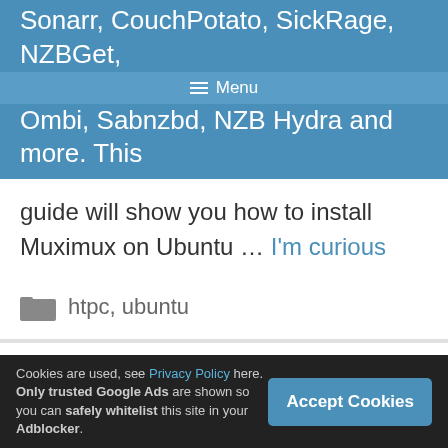Sonarr, CouchPotato, SickRage, NZBGet, Menu Ombi, Sabnzbd, NZB Hydra and more. This
guide will show you how to install Muximux on Ubuntu … I'm curious
htpc, ubuntu
Configure Auto Port Forward PIA VPN for Deluge
Cookies are used, see Privacy Policy here. Only trusted Google Ads are shown so you can safely whitelist this site in your Adblocker.